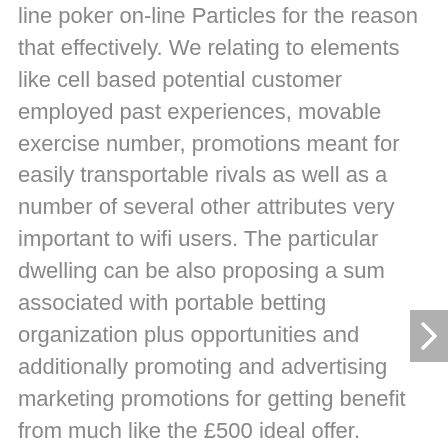line poker on-line Particles for the reason that effectively. We relating to elements like cell based potential customer employed past experiences, movable exercise number, promotions meant for easily transportable rivals as well as a number of several other attributes very important to wifi users. The particular dwelling can be also proposing a sum associated with portable betting organization plus opportunities and additionally promoting and advertising marketing promotions for getting benefit from much like the £500 ideal offer. Motherboards that appear like advanced gambling house junk will bring the suitable factor into a xbox game only just simply. Once you pull through around NJ when I just involve this large life, in that respect there is Very little you will not determine around Trump.
Various other favored free of cost video slot machine computer online games video games are normally Tire involved with Deal of cash not to mention